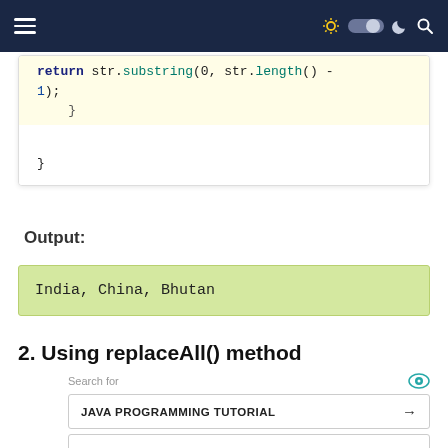Navigation bar with hamburger menu and icons
[Figure (screenshot): Code snippet showing 'return str.substring(0, str.length() - 1);' followed by closing braces, with highlighted yellow background on part of the code block]
Output:
India, China, Bhutan
2. Using replaceAll() method
Search for
JAVA PROGRAMMING TUTORIAL →
JAVA CODING BASICS →